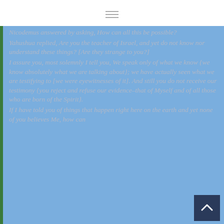≡ (menu icon)
Nicodemus answered by asking, How can all this be possible?
Yahushua replied, Are you the teacher of Israel, and yet do not know nor understand these things? [Are they strange to you?]
I assure you, most solemnly I tell you, We speak only of what we know {we know absolutely what we are talking about}; we have actually seen what we are testifying to [we were eyewitnesses of it]. And still you do not receive our testimony {you reject and refuse our evidence–that of Myself and of all those who are born of the Spirit}.
If I have told you of things that happen right here on the earth and yet none of you believes Me, how can